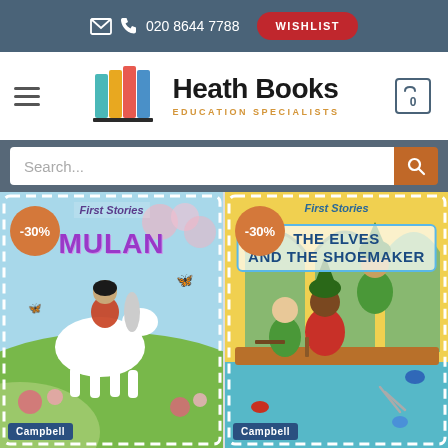✉ 📞 020 8644 7788  WISHLIST
[Figure (logo): Heath Books Education Specialists logo with colourful book spines icon]
Search...
[Figure (illustration): First Stories: Mulan book cover showing a girl riding a white horse on a hill, with -30% discount badge, published by Campbell]
[Figure (illustration): First Stories: The Elves and the Shoemaker book cover showing elf characters in a cobbler's workshop, with -30% discount badge, published by Campbell]